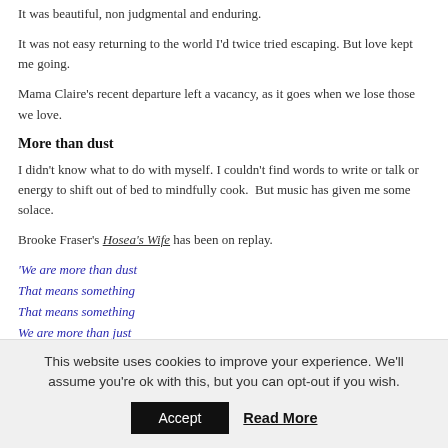It was beautiful, non judgmental and enduring.
It was not easy returning to the world I'd twice tried escaping. But love kept me going.
Mama Claire's recent departure left a vacancy, as it goes when we lose those we love.
More than dust
I didn't know what to do with myself. I couldn't find words to write or talk or energy to shift out of bed to mindfully cook.  But music has given me some solace.
Brooke Fraser's Hosea's Wife has been on replay.
'We are more than dust
That means something
That means something
We are more than just
Blood and emotions
Inklings and notions
This website uses cookies to improve your experience. We'll assume you're ok with this, but you can opt-out if you wish.